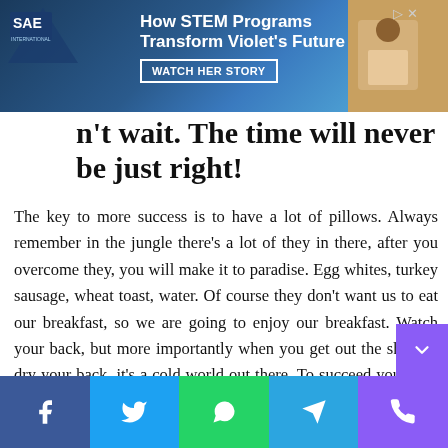[Figure (other): Advertisement banner: SAE logo on blue/navy gradient background with text 'How STEM Programs Transform Violet's Future' and 'WATCH HER STORY' CTA button, photo of child on right side]
n't wait. The time will never be just right!
The key to more success is to have a lot of pillows. Always remember in the jungle there's a lot of they in there, after you overcome they, you will make it to paradise. Egg whites, turkey sausage, wheat toast, water. Of course they don't want us to eat our breakfast, so we are going to enjoy our breakfast. Watch your back, but more importantly when you get out the shower, dry your back, it's a cold world out there. To succeed you must believe. When you believe, you will succeed.
[Figure (other): Social sharing bar with Facebook, Twitter, WhatsApp, Telegram, and phone icons]